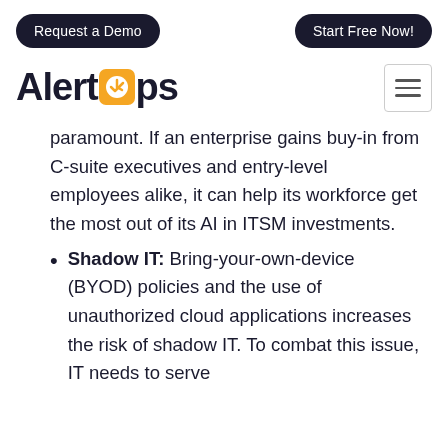Request a Demo | Start Free Now!
[Figure (logo): AlertOps logo with orange clock icon replacing the letter 'o' in 'Alert', followed by 'ps' in dark navy text]
paramount. If an enterprise gains buy-in from C-suite executives and entry-level employees alike, it can help its workforce get the most out of its AI in ITSM investments.
Shadow IT: Bring-your-own-device (BYOD) policies and the use of unauthorized cloud applications increases the risk of shadow IT. To combat this issue, IT needs to serve